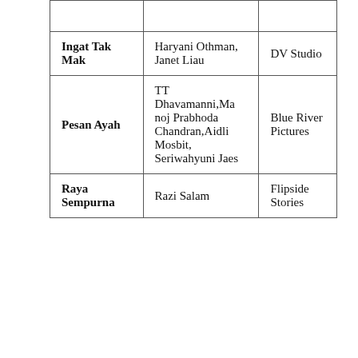|  |  |  |
| --- | --- | --- |
|  |  |  |
| Ingat Tak Mak | Haryani Othman, Janet Liau | DV Studio |
| Pesan Ayah | TT Dhavamanni,Manoj Prabhoda Chandran,Aidli Mosbit, Seriwahyuni Jaes | Blue River Pictures |
| Raya Sempurna | Razi Salam | Flipside Stories |